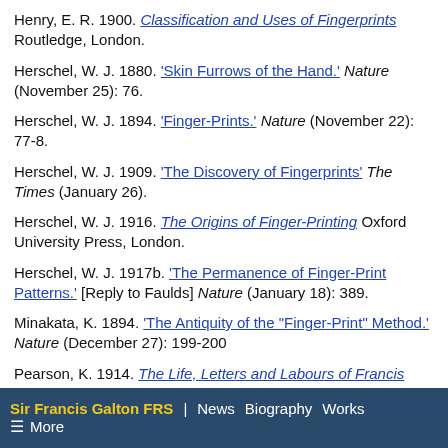Henry, E. R. 1900. Classification and Uses of Fingerprints Routledge, London.
Herschel, W. J. 1880. 'Skin Furrows of the Hand.' Nature (November 25): 76.
Herschel, W. J. 1894. 'Finger-Prints.' Nature (November 22): 77-8.
Herschel, W. J. 1909. 'The Discovery of Fingerprints' The Times (January 26).
Herschel, W. J. 1916. The Origins of Finger-Printing Oxford University Press, London.
Herschel, W. J. 1917b. 'The Permanence of Finger-Print Patterns.' [Reply to Faulds] Nature (January 18): 389.
Minakata, K. 1894. 'The Antiquity of the "Finger-Print" Method.' Nature (December 27): 199-200
Pearson, K. 1914. The Life, Letters and Labours of Francis
Sir Francis Galton FRS | News Biography Works ≡ More